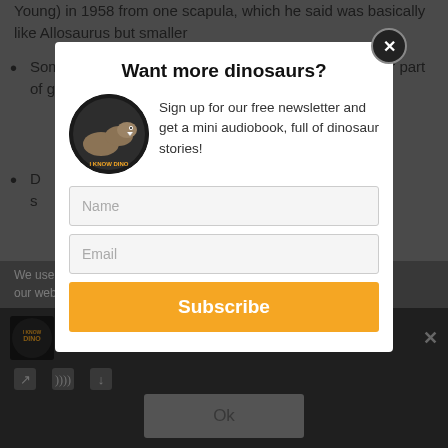Young) in 1958 from one scapula, which he said was basically like Allosaurus but smaller
Some scientists thought the shoulder bone was a rib or part of gastralia, but a 2013 study f[...]
D[...] [...] nter s[...] id
Fun Fa[cts]
speci[...] ns: one w[...] ut.
We use [...] nce on our web[...] hat you
[Figure (screenshot): I Know Dino podcast thumbnail and bar with dinosaur fossil text]
Want more dinosaurs?
Sign up for our free newsletter and get a mini audiobook, full of dinosaur stories!
Name
Email
Subscribe
Ok